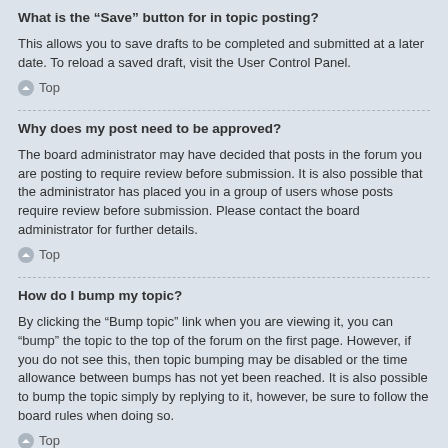What is the “Save” button for in topic posting?
This allows you to save drafts to be completed and submitted at a later date. To reload a saved draft, visit the User Control Panel.
Top
Why does my post need to be approved?
The board administrator may have decided that posts in the forum you are posting to require review before submission. It is also possible that the administrator has placed you in a group of users whose posts require review before submission. Please contact the board administrator for further details.
Top
How do I bump my topic?
By clicking the “Bump topic” link when you are viewing it, you can “bump” the topic to the top of the forum on the first page. However, if you do not see this, then topic bumping may be disabled or the time allowance between bumps has not yet been reached. It is also possible to bump the topic simply by replying to it, however, be sure to follow the board rules when doing so.
Top
Formatting and Topic Types